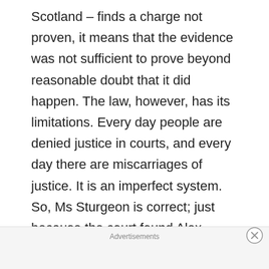Scotland – finds a charge not proven, it means that the evidence was not sufficient to prove beyond reasonable doubt that it did happen. The law, however, has its limitations. Every day people are denied justice in courts, and every day there are miscarriages of justice. It is an imperfect system. So, Ms Sturgeon is correct; just because the court found Alex Salmond not guilty, does not mean that the events as the women testified to them did not happen. But this also implies the opposite; just because a court finds
Advertisements